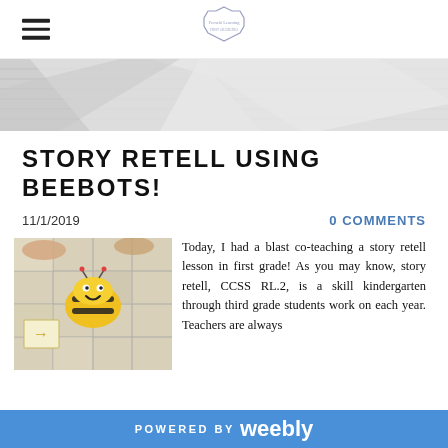[Figure (photo): Banner header image showing papers/notebooks from above in black and white]
STORY RETELL USING BEEBOTS!
11/1/2019
0 COMMENTS
[Figure (photo): Photo of a yellow bee-bot robot on a tiled classroom floor with grid mats and a child's hands visible in the background]
Today, I had a blast co-teaching a story retell lesson in first grade! As you may know, story retell, CCSS RL.2, is a skill kindergarten through third grade students work on each year. Teachers are always
POWERED BY weebly